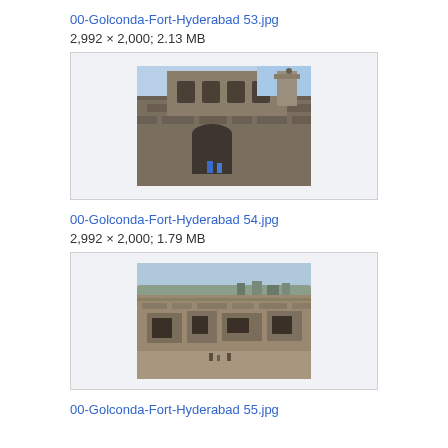00-Golconda-Fort-Hyderabad 53.jpg
2,992 × 2,000; 2.13 MB
[Figure (photo): Photograph of Golconda Fort Hyderabad - showing ancient stone fort walls with arched gateways and ruins, with a bright blue sky in the background. People visible near the entrance.]
00-Golconda-Fort-Hyderabad 54.jpg
2,992 × 2,000; 1.79 MB
[Figure (photo): Aerial/elevated photograph of Golconda Fort Hyderabad - showing a panoramic view of the fort ruins and the surrounding city landscape from above, with stone walls and towers visible.]
00-Golconda-Fort-Hyderabad 55.jpg